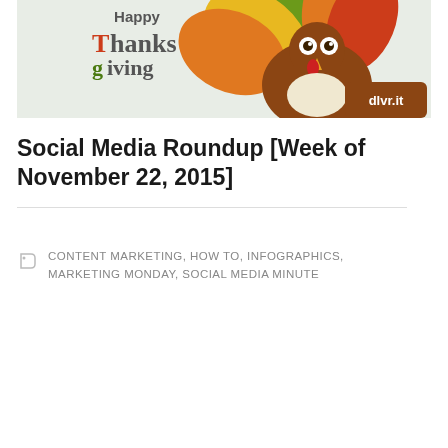[Figure (illustration): Happy Thanksgiving illustration with a cartoon turkey made of colorful feathers (green, orange, yellow, red) and the dlvr.it logo on a brown tag. Text reads 'Happy Thanksgiving' in festive lettering.]
Social Media Roundup [Week of November 22, 2015]
CONTENT MARKETING, HOW TO, INFOGRAPHICS, MARKETING MONDAY, SOCIAL MEDIA MINUTE